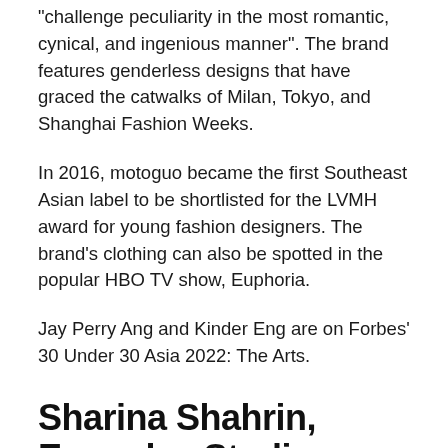“challenge peculiarity in the most romantic, cynical, and ingenious manner”. The brand features genderless designs that have graced the catwalks of Milan, Tokyo, and Shanghai Fashion Weeks.
In 2016, motoguo became the first Southeast Asian label to be shortlisted for the LVMH award for young fashion designers. The brand’s clothing can also be spotted in the popular HBO TV show, Euphoria.
Jay Perry Ang and Kinder Eng are on Forbes’ 30 Under 30 Asia 2022: The Arts.
Sharina Shahrin, Everyday Studios